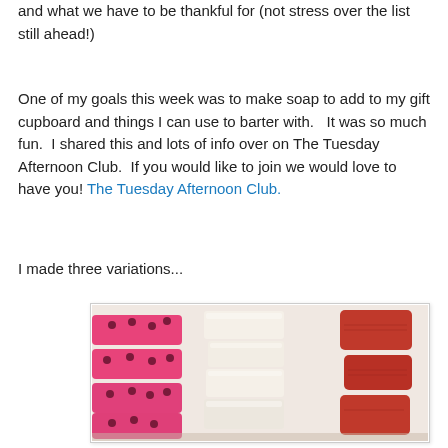and what we have to be thankful for (not stress over the list still ahead!)
One of my goals this week was to make soap to add to my gift cupboard and things I can use to barter with.   It was so much fun.  I shared this and lots of info over on The Tuesday Afternoon Club.  If you would like to join we would love to have you! The Tuesday Afternoon Club.
I made three variations...
[Figure (photo): Photo of handmade soaps in three variations: pink soaps decorated with dried rosebuds on the left, white/cream rectangular bars in the center, and red/crimson soaps on the right, arranged on a surface.]